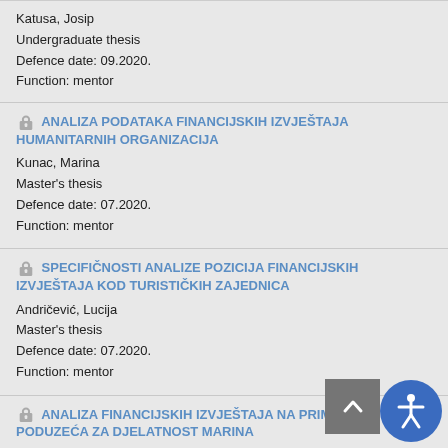Katusa, Josip
Undergraduate thesis
Defence date: 09.2020.
Function: mentor
ANALIZA PODATAKA FINANCIJSKIH IZVJEŠTAJA HUMANITARNIH ORGANIZACIJA
Kunac, Marina
Master's thesis
Defence date: 07.2020.
Function: mentor
SPECIFIČNOSTI ANALIZE POZICIJA FINANCIJSKIH IZVJEŠTAJA KOD TURISTIČKIH ZAJEDNICA
Andričević, Lucija
Master's thesis
Defence date: 07.2020.
Function: mentor
ANALIZA FINANCIJSKIH IZVJEŠTAJA NA PRIMJERU PODUZEĆA ZA DJELATNOST MARINA
Mataga, Petra
Undergraduate thesis
Defence date: 04.2020.